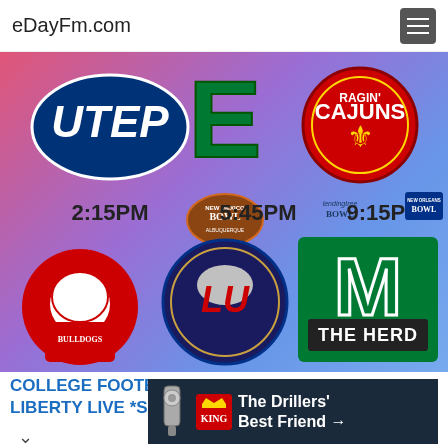eDayFm.com
[Figure (screenshot): College football bowl game matchups graphic showing team logos: UTEP, Eastern Michigan (E), Ragin' Cajuns, Fresno State Bulldogs, Liberty Flames (LU), Marshall Thundering Herd (The Herd), with times 2:15PM (New Mexico Bowl), 5:45PM (LendingTree Bowl), 9:15PM (New Orleans Bowl)]
COLLEGE FOOTBALL EASTERN MICHIGAN VS LIBERTY LIVE *SCOREBOARD*
[Figure (other): King Oil Tools advertisement: The Drillers' Best Friend →]